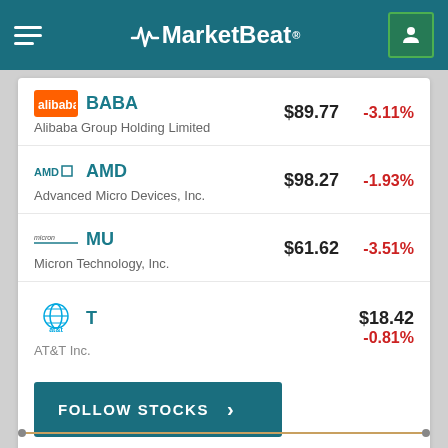MarketBeat
BABA | Alibaba Group Holding Limited | $89.77 | -3.11%
AMD | Advanced Micro Devices, Inc. | $98.27 | -1.93%
MU | Micron Technology, Inc. | $61.62 | -3.51%
T | AT&T Inc. | $18.42 | -0.81%
FOLLOW STOCKS